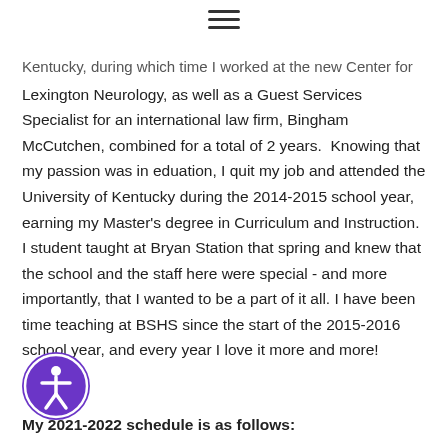☰ (hamburger menu icon)
Kentucky, during which time I worked at the new Center for Lexington Neurology, as well as a Guest Services Specialist for an international law firm, Bingham McCutchen, combined for a total of 2 years.  Knowing that my passion was in eduation, I quit my job and attended the University of Kentucky during the 2014-2015 school year, earning my Master's degree in Curriculum and Instruction. I student taught at Bryan Station that spring and knew that the school and the staff here were special - and more importantly, that I wanted to be a part of it all. I have been time teaching at BSHS since the start of the 2015-2016 school year, and every year I love it more and more!
[Figure (illustration): Purple circular accessibility icon with white figure/person symbol in the center]
My 2021-2022 schedule is as follows: